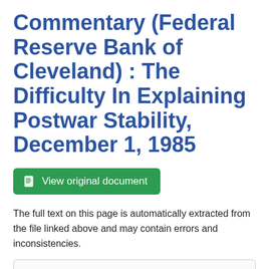Commentary (Federal Reserve Bank of Cleveland) : The Difficulty In Explaining Postwar Stability, December 1, 1985
[Figure (other): Green button labeled 'View original document' with a document icon]
The full text on this page is automatically extracted from the file linked above and may contain errors and inconsistencies.
Chart 4 Comparison of GNP Growth Rates, 1889-1918
Percent